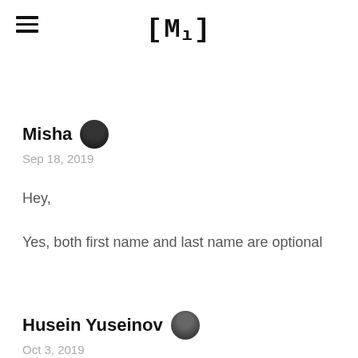[M]
Misha
Sep 18, 2019
Hey,
Yes, both first name and last name are optional
Husein Yuseinov
Oct 3, 2019